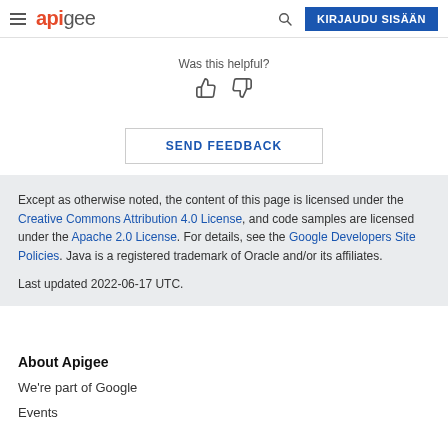apigee — KIRJAUDU SISÄÄN
Was this helpful?
SEND FEEDBACK
Except as otherwise noted, the content of this page is licensed under the Creative Commons Attribution 4.0 License, and code samples are licensed under the Apache 2.0 License. For details, see the Google Developers Site Policies. Java is a registered trademark of Oracle and/or its affiliates.

Last updated 2022-06-17 UTC.
About Apigee
We're part of Google
Events